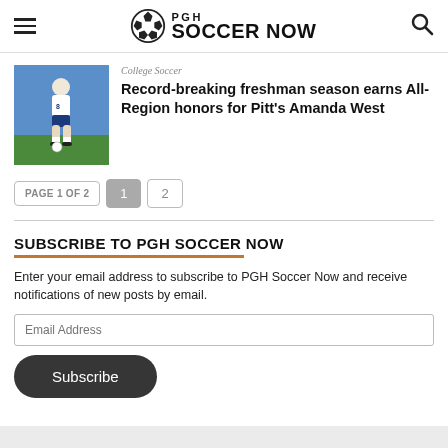PGH SOCCER NOW
[Figure (screenshot): Soccer player in white uniform dribbling ball on green field, blue background]
College Soccer
Record-breaking freshman season earns All-Region honors for Pitt's Amanda West
PAGE 1 OF 2  1  2
SUBSCRIBE TO PGH SOCCER NOW
Enter your email address to subscribe to PGH Soccer Now and receive notifications of new posts by email.
Email Address
Subscribe